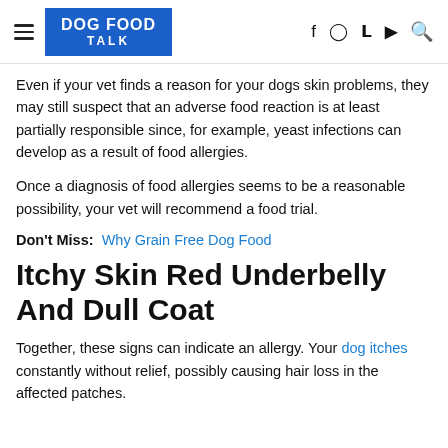DOG FOOD TALK
Even if your vet finds a reason for your dogs skin problems, they may still suspect that an adverse food reaction is at least partially responsible since, for example, yeast infections can develop as a result of food allergies.
Once a diagnosis of food allergies seems to be a reasonable possibility, your vet will recommend a food trial.
Don't Miss: Why Grain Free Dog Food
Itchy Skin Red Underbelly And Dull Coat
Together, these signs can indicate an allergy. Your dog itches constantly without relief, possibly causing hair loss in the affected patches.